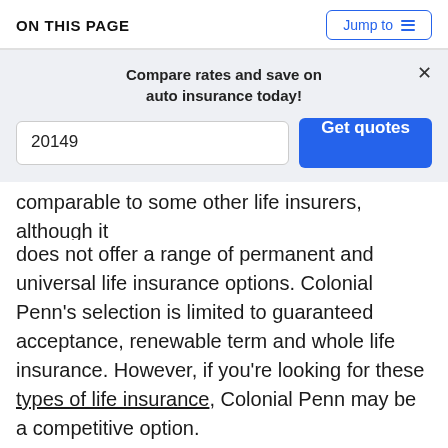ON THIS PAGE
[Figure (screenshot): Compare rates widget with zip code input '20149' and 'Get quotes' blue button]
comparable to some other life insurers, although it does not offer a range of permanent and universal life insurance options. Colonial Penn's selection is limited to guaranteed acceptance, renewable term and whole life insurance. However, if you're looking for these types of life insurance, Colonial Penn may be a competitive option.
The company began writing life insurance policies